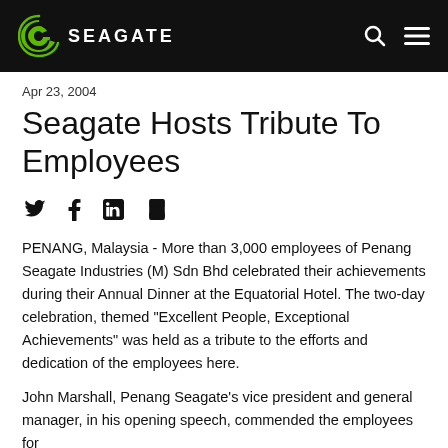SEAGATE
Apr 23, 2004
Seagate Hosts Tribute To Employees
[Figure (other): Social share icons: Twitter, Facebook, LinkedIn, Print]
PENANG, Malaysia - More than 3,000 employees of Penang Seagate Industries (M) Sdn Bhd celebrated their achievements during their Annual Dinner at the Equatorial Hotel. The two-day celebration, themed "Excellent People, Exceptional Achievements" was held as a tribute to the efforts and dedication of the employees here.
John Marshall, Penang Seagate's vice president and general manager, in his opening speech, commended the employees for